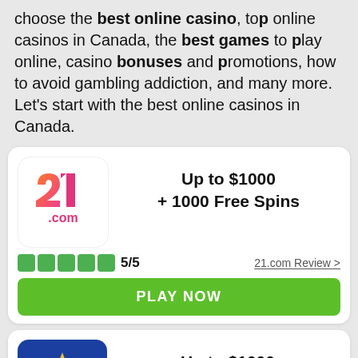choose the best online casino, top online casinos in Canada, the best games to play online, casino bonuses and promotions, how to avoid gambling addiction, and many more. Let's start with the best online casinos in Canada.
[Figure (logo): 21.com casino logo - stylized '21' in pink/orange gradient with '.com' text below, on white rounded square background]
Up to $1000 + 1000 Free Spins
5/5
21.com Review >
PLAY NOW
[Figure (logo): Vulkan Vegas casino logo - 'VULKAN Vegas' text in white/yellow on dark blue rounded rectangle background]
Up to $1000 + 125 Free Spins